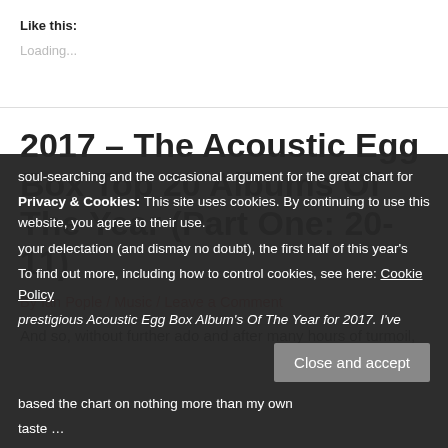Like this:
Loading...
2017 – The Acoustic Egg Box Top 20 Albums Of The Year (Part One: 20-11)
By Ian Pople / Music / Leave a Comment
And so, without further ado and after many hours of turmoil, soul-searching and the occasional argument for your delectation (and dismay no doubt), the first half of this year's prestigious Acoustic Egg Box Album's Of The Year for 2017. I've based the chart on nothing more than my own taste …
Privacy & Cookies: This site uses cookies. By continuing to use this website, you agree to their use. To find out more, including how to control cookies, see here: Cookie Policy
Close and accept